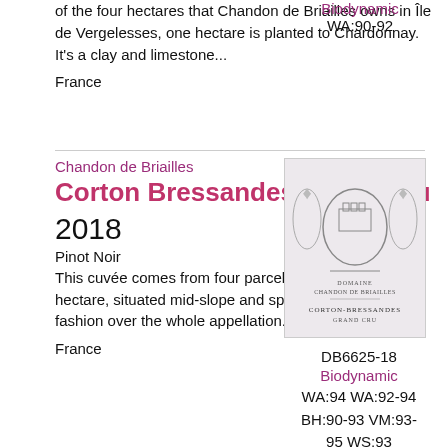of the four hectares that Chandon de Briailles owns in Île de Vergelesses, one hectare is planted to Chardonnay. It's a clay and limestone...
France
Biodynamic
WA:90-92
Chandon de Briailles
Corton Bressandes Grand Cru
2018
Pinot Noir
This cuvée comes from four parcels which total 1.12 hectare, situated mid-slope and spread in homogenous fashion over the whole appellation...
France
[Figure (photo): Wine label for Corton-Bressandes Grand Cru by Chandon de Briailles]
DB6625-18
Biodynamic
WA:94 WA:92-94
BH:90-93 VM:93-95 WS:93